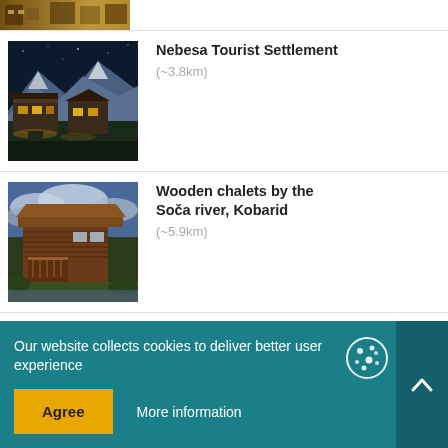[Figure (photo): Partially cropped thumbnail of a building/tourist property at top of page]
[Figure (photo): Mountain chalet buildings at night with snowy peaks behind - Nebesa Tourist Settlement]
Nebesa Tourist Settlement
(~3.8km)
[Figure (photo): Wooden log cabin/chalet building by a river with dramatic sky - Wooden chalets by the Soča river, Kobarid]
Wooden chalets by the Soča river, Kobarid
(~5.9km)
[Figure (photo): Partially visible thumbnail of Camp Koren Kobarid at bottom]
Camp Koren, Kobarid
Our website collects cookies to deliver better user experience
Agree
More information